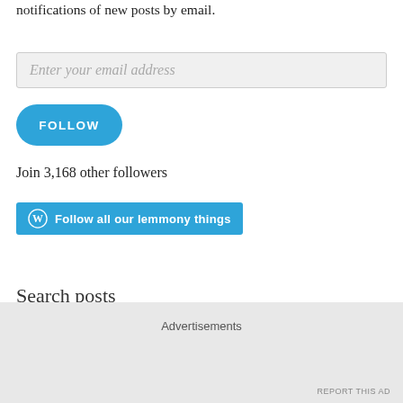Enter your email address to follow this blog and receive notifications of new posts by email.
[Figure (screenshot): Email input field with placeholder text 'Enter your email address']
[Figure (screenshot): Blue rounded FOLLOW button]
Join 3,168 other followers
[Figure (screenshot): Blue WordPress follow button labeled 'Follow all our lemmony things']
Search posts
[Figure (screenshot): Search input field with placeholder 'Search' and close/loading icons]
Advertisements
REPORT THIS AD